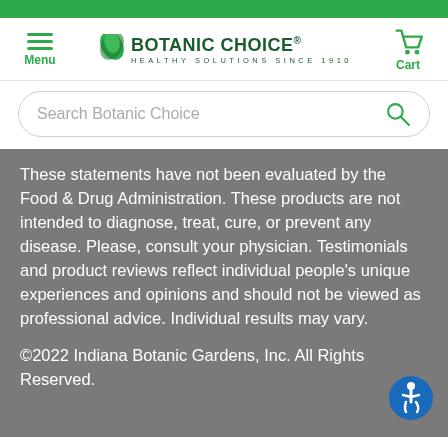Botanic Choice - Healthy Solutions Since 1910 - Menu / Cart navigation header with search bar
These statements have not been evaluated by the Food & Drug Administration. These products are not intended to diagnose, treat, cure, or prevent any disease. Please, consult your physician. Testimonials and product reviews reflect individual people's unique experiences and opinions and should not be viewed as professional advice. Individual results may vary.
©2022 Indiana Botanic Gardens, Inc. All Rights Reserved.